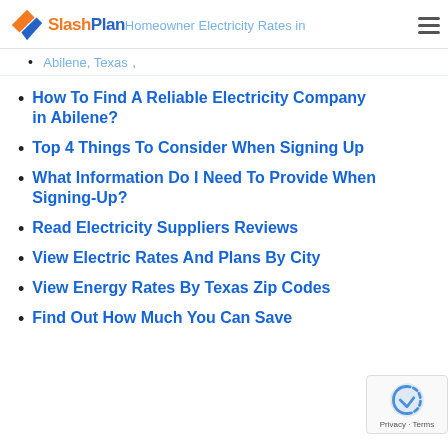SlashPlan — Homeowner Electricity Rates in Abilene, Texas
Abilene, Texas
How To Find A Reliable Electricity Company in Abilene?
Top 4 Things To Consider When Signing Up
What Information Do I Need To Provide When Signing-Up?
Read Electricity Suppliers Reviews
View Electric Rates And Plans By City
View Energy Rates By Texas Zip Codes
Find Out How Much You Can Save